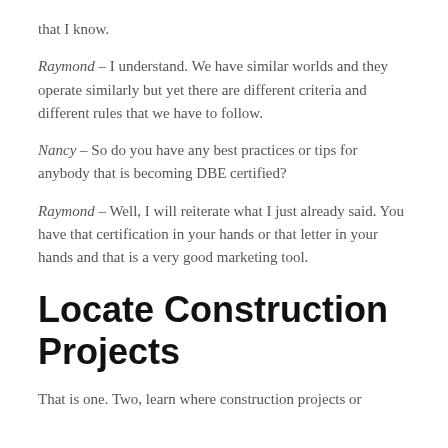that I know.
Raymond – I understand.  We have similar worlds and they operate similarly but yet there are different criteria and different rules that we have to follow.
Nancy – So do you have any best practices or tips for anybody that is becoming DBE certified?
Raymond – Well, I will reiterate what I just already said. You have that certification in your hands or that letter in your hands and that is a very good marketing tool.
Locate Construction Projects
That is one.  Two, learn where construction projects or